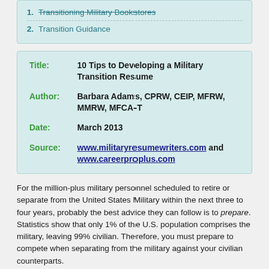1. Transitioning Military Bookstores
2. Transition Guidance
| Label | Value |
| --- | --- |
| Title: | 10 Tips to Developing a Military Transition Resume |
| Author: | Barbara Adams, CPRW, CEIP, MFRW, MMRW, MFCA-T |
| Date: | March 2013 |
| Source: | www.militaryresumewriters.com and www.careerproplus.com |
For the million-plus military personnel scheduled to retire or separate from the United States Military within the next three to four years, probably the best advice they can follow is to prepare. Statistics show that only 1% of the U.S. population comprises the military, leaving 99% civilian. Therefore, you must prepare to compete when separating from the military against your civilian counterparts.
Thousands of military personnel have the same MOS (Military...